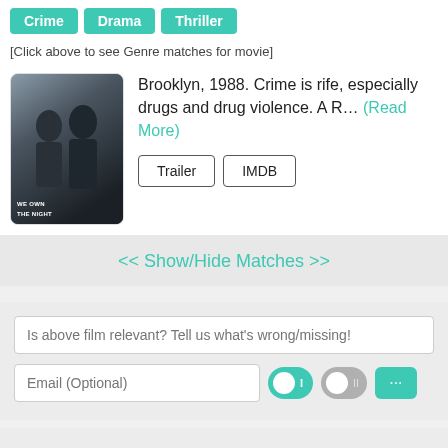Crime | Drama | Thriller
[Click above to see Genre matches for movie]
[Figure (photo): Movie poster for 'We Own the Night' showing two people in black and white]
Brooklyn, 1988. Crime is rife, especially drugs and drug violence. A R... (Read More)
Trailer | IMDB
<< Show/Hide Matches >>
Is above film relevant? Tell us what's wrong/missing!
Email (Optional)
City Of God (2002)